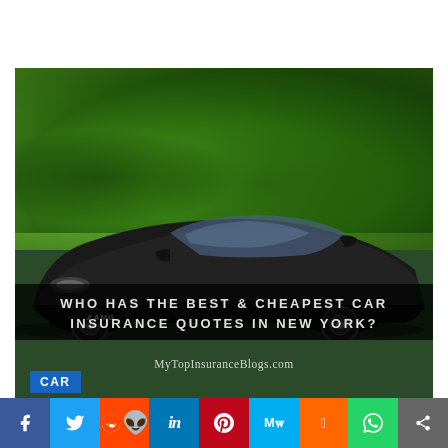[Figure (photo): A black Mercedes-AMG sports car photographed from the front-left, parked in a green tree-lined setting. Text overlay reads: WHO HAS THE BEST & CHEAPEST CAR INSURANCE QUOTES IN NEW YORK? with website MyTopInsuranceBlogs.com at the bottom of the photo. A blue CAR label appears at the bottom left.]
[Figure (infographic): Social sharing button bar with icons for Facebook, Twitter, Reddit, LinkedIn, Pinterest, MeWe, Mix, WhatsApp, and Share (more)]